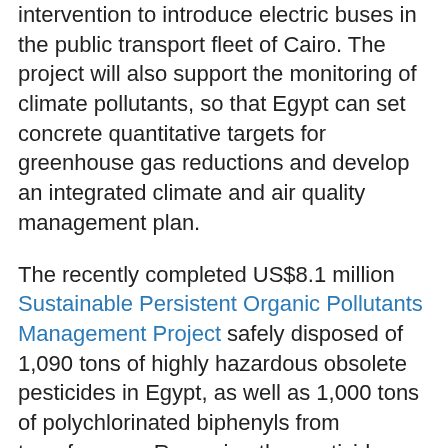intervention to introduce electric buses in the public transport fleet of Cairo. The project will also support the monitoring of climate pollutants, so that Egypt can set concrete quantitative targets for greenhouse gas reductions and develop an integrated climate and air quality management plan.
The recently completed US$8.1 million Sustainable Persistent Organic Pollutants Management Project safely disposed of 1,090 tons of highly hazardous obsolete pesticides in Egypt, as well as 1,000 tons of polychlorinated biphenyls from transformers. Removing the pesticides from the governorate of Suez and elsewhere ended the risk they posed to the health of about 383,000 people. The project built